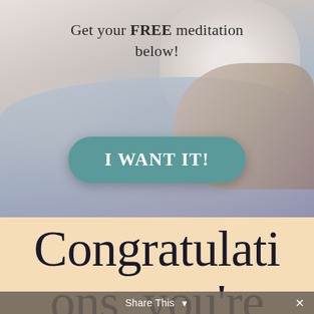[Figure (photo): Person relaxing, lying down with pillow, wearing light blue/grey clothing, soft lifestyle photo background]
Get your FREE meditation below!
I WANT IT!
Congratulations, you're
Share This